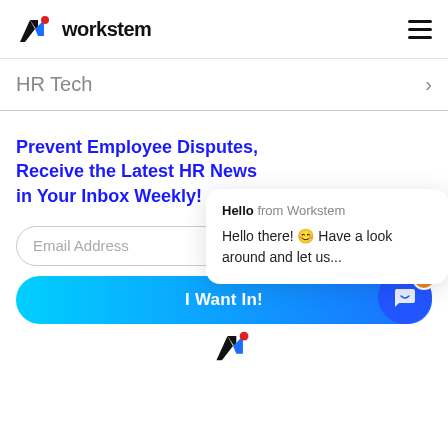[Figure (logo): Workstem logo with W icon and workstem text]
HR Tech
Prevent Employee Disputes, Receive the Latest HR News in Your Inbox Weekly!
Email Address
I Want In!
Hello from Workstem
Hello there! 😊 Have a look around and let us...